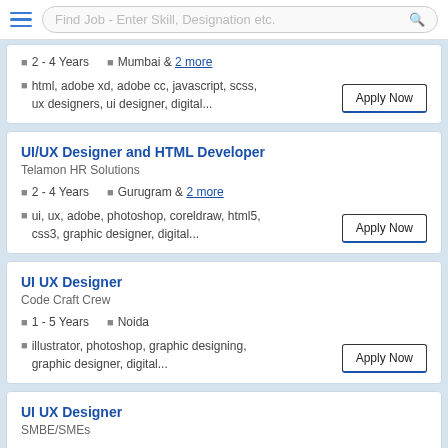Find Job - Enter Skill, Designation etc.
2 - 4 Years | Mumbai & 2 more
html, adobe xd, adobe cc, javascript, scss, ux designers, ui designer, digital... | Apply Now
UI/UX Designer and HTML Developer
Telamon HR Solutions
2 - 4 Years | Gurugram & 2 more
ui, ux, adobe, photoshop, coreldraw, html5, css3, graphic designer, digital... | Apply Now
UI UX Designer
Code Craft Crew
1 - 5 Years | Noida
illustrator, photoshop, graphic designing, graphic designer, digital... | Apply Now
UI UX Designer
SMBE/SMEs